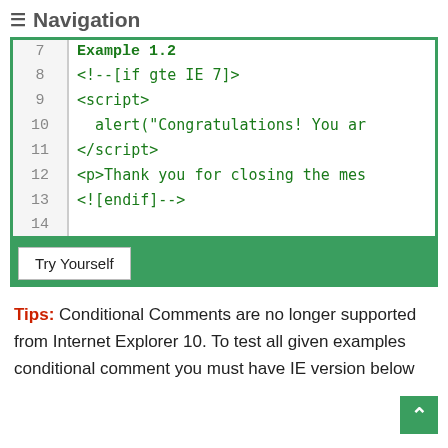≡ Navigation
[Figure (screenshot): Code block showing Example 1.2 with HTML conditional comments and script tag, line numbers 7-14]
Try Yourself
Tips: Conditional Comments are no longer supported from Internet Explorer 10. To test all given examples conditional comment you must have IE version below